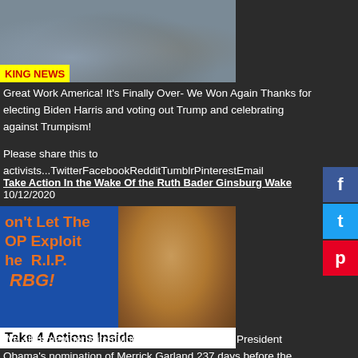[Figure (photo): Crowd scene with Breaking News banner at bottom]
Great Work America! It's Finally Over- We Won Again Thanks for electing Biden Harris and voting out Trump and celebrating against Trumpism!
Please share this to activists...TwitterFacebookRedditTumblrPinterestEmail
Take Action In the Wake Of the Ruth Bader Ginsburg Wake 10/12/2020
[Figure (photo): Blue background with orange text reading Don't Let The GOP Exploit the R.I.P. RBG! and photo of Obama. Bottom white bar reads Take 4 Actions Inside]
We all remember Mitch McConnell's blockade of President Obama's nomination of Merrick Garland 237 days before the 2016 election. The 2020 election has already started. With voting already underway in